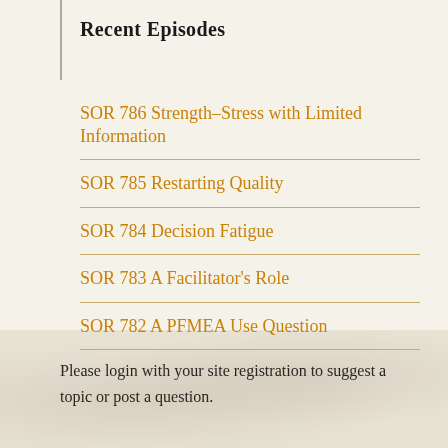Recent Episodes
SOR 786 Strength–Stress with Limited Information
SOR 785 Restarting Quality
SOR 784 Decision Fatigue
SOR 783 A Facilitator's Role
SOR 782 A PFMEA Use Question
Please login with your site registration to suggest a topic or post a question.